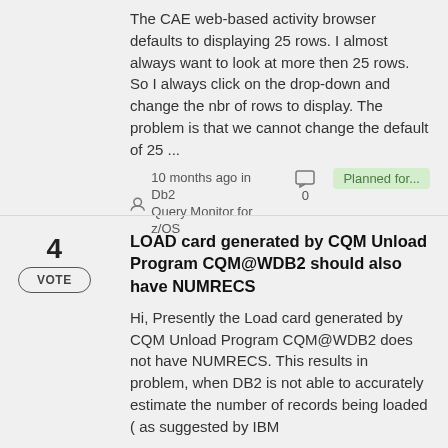The CAE web-based activity browser defaults to displaying 25 rows. I almost always want to look at more then 25 rows. So I always click on the drop-down and change the nbr of rows to display. The problem is that we cannot change the default of 25 ...
10 months ago in Db2 Query Monitor for z/OS
Planned for...
LOAD card generated by CQM Unload Program CQM@WDB2 should also have NUMRECS
Hi, Presently the Load card generated by CQM Unload Program CQM@WDB2 does not have NUMRECS. This results in problem, when DB2 is not able to accurately estimate the number of records being loaded ( as suggested by IBM